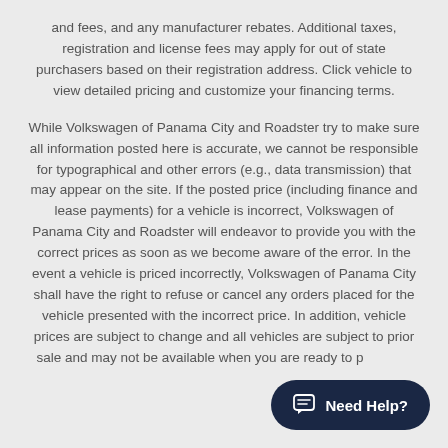and fees, and any manufacturer rebates. Additional taxes, registration and license fees may apply for out of state purchasers based on their registration address. Click vehicle to view detailed pricing and customize your financing terms.

While Volkswagen of Panama City and Roadster try to make sure all information posted here is accurate, we cannot be responsible for typographical and other errors (e.g., data transmission) that may appear on the site. If the posted price (including finance and lease payments) for a vehicle is incorrect, Volkswagen of Panama City and Roadster will endeavor to provide you with the correct prices as soon as we become aware of the error. In the event a vehicle is priced incorrectly, Volkswagen of Panama City shall have the right to refuse or cancel any orders placed for the vehicle presented with the incorrect price. In addition, vehicle prices are subject to change and all vehicles are subject to prior sale and may not be available when you are ready to pu...